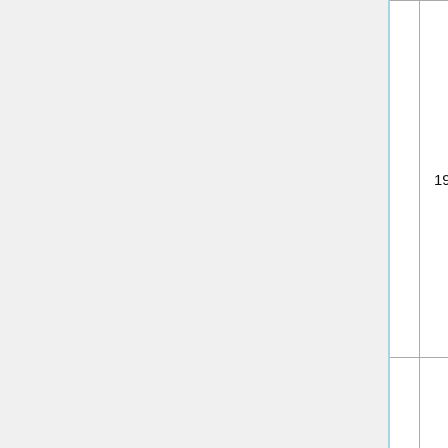| Author(s) | Year | Source |
| --- | --- | --- |
| O'Shea & Bridge | 1997 | Construction Steel and Concrete [truncated] |
| Ou, Chen, Hsieh, Halling & Barr | 2011 | Journal of Structural Engineering [truncated] |
| Pan & Zhong | 1991 | Proceedings of the Third International Conference Steel C... [truncated] |